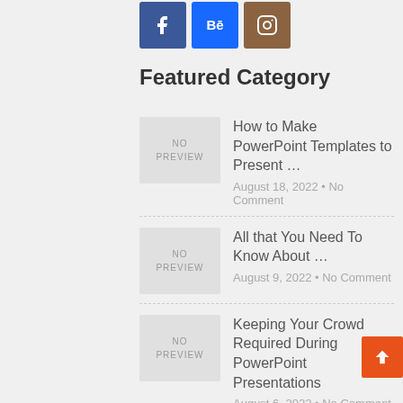[Figure (logo): Social media icons: Facebook (blue), Behance (blue), Instagram (brown)]
Featured Category
How to Make PowerPoint Templates to Present ...
August 18, 2022 • No Comment
All that You Need To Know About ...
August 9, 2022 • No Comment
Keeping Your Crowd Required During PowerPoint Presentations
August 6, 2022 • No Comment
Insight Features and Projects of Error Initializing ...